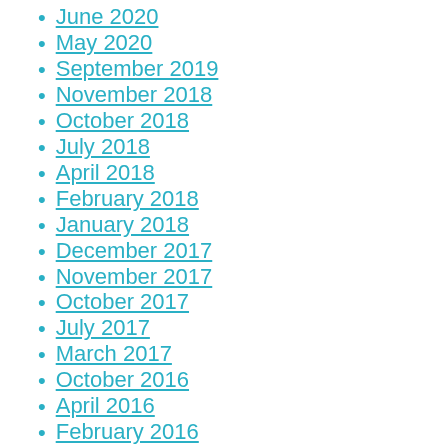June 2020
May 2020
September 2019
November 2018
October 2018
July 2018
April 2018
February 2018
January 2018
December 2017
November 2017
October 2017
July 2017
March 2017
October 2016
April 2016
February 2016
November 2015
September 2015